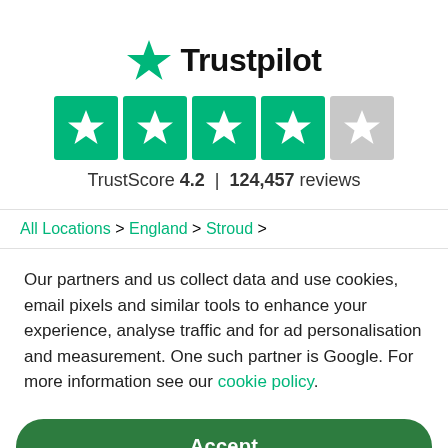[Figure (logo): Trustpilot logo with green star and brand name]
[Figure (other): Four green star rating boxes and one gray star box representing 4.2 out of 5 stars]
TrustScore 4.2 | 124,457 reviews
All Locations > England > Stroud >
Our partners and us collect data and use cookies, email pixels and similar tools to enhance your experience, analyse traffic and for ad personalisation and measurement. One such partner is Google. For more information see our cookie policy.
Accept